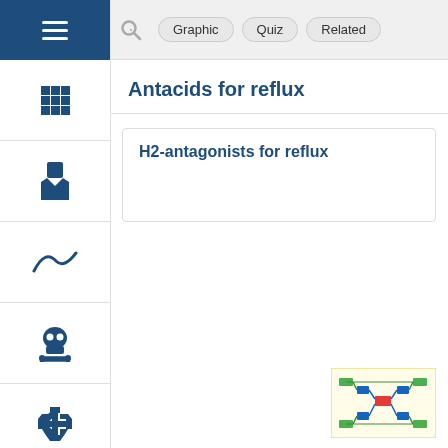Graphic | Quiz | Related
Antacids for reflux
H2-antagonists for reflux
[Figure (schematic): Small thumbnail image showing a colorful schematic/diagram related to H2-antagonists for reflux with colored pathway arrows on a yellow background]